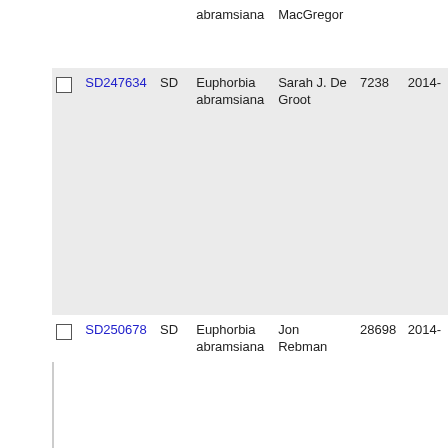|  | ID | Inst | Taxon | Collector | Num | Year |
| --- | --- | --- | --- | --- | --- | --- |
|  |  |  | abramsiana | MacGregor |  |  |
| ☐ | SD247634 | SD | Euphorbia abramsiana | Sarah J. De Groot | 7238 | 2014- |
| ☐ | SD250678 | SD | Euphorbia abramsiana | Jon Rebman | 28698 | 2014- |